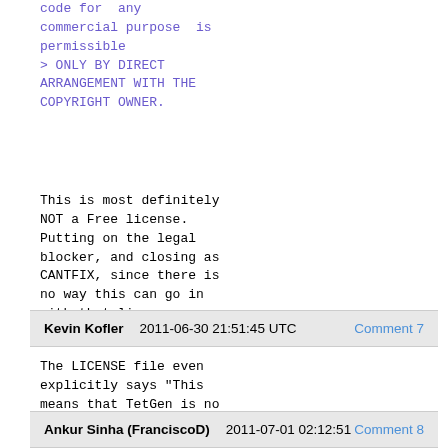code for  any
commercial purpose  is
permissible
> ONLY BY DIRECT
ARRANGEMENT WITH THE
COPYRIGHT OWNER.
This is most definitely
NOT a Free license.
Putting on the legal
blocker, and closing as
CANTFIX, since there is
no way this can go in
with that license.
Kevin Kofler    2011-06-30 21:51:45 UTC    Comment 7
The LICENSE file even
explicitly says "This
means that TetGen is no
free software".
Ankur Sinha (FranciscoD)    2011-07-01 02:12:51    Comment 8